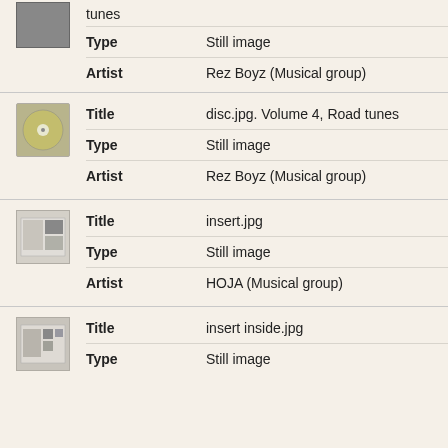tunes
| Field | Value |
| --- | --- |
| Type | Still image |
| Artist | Rez Boyz (Musical group) |
| Field | Value |
| --- | --- |
| Title | disc.jpg. Volume 4, Road tunes |
| Type | Still image |
| Artist | Rez Boyz (Musical group) |
| Field | Value |
| --- | --- |
| Title | insert.jpg |
| Type | Still image |
| Artist | HOJA (Musical group) |
| Field | Value |
| --- | --- |
| Title | insert inside.jpg |
| Type | Still image |